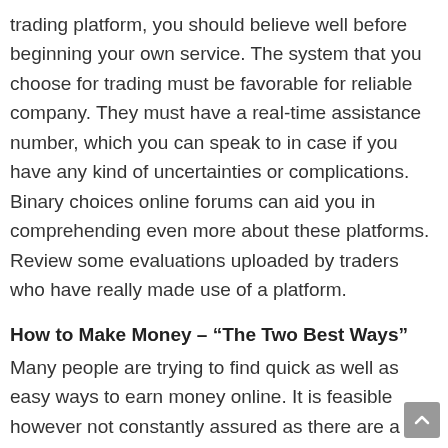trading platform, you should believe well before beginning your own service. The system that you choose for trading must be favorable for reliable company. They must have a real-time assistance number, which you can speak to in case if you have any kind of uncertainties or complications. Binary choices online forums can aid you in comprehending even more about these platforms. Review some evaluations uploaded by traders who have really made use of a platform.
How to Make Money – “The Two Best Ways”
Many people are trying to find quick as well as easy ways to earn money online. It is feasible however not constantly assured as there are a whole lot of rip-offs around that’s wanting to make their fast and gravy train off you so do not get tricked by all the buzz that you see. It’s a good idea to study what you intend on doing which’s why you’re here now.